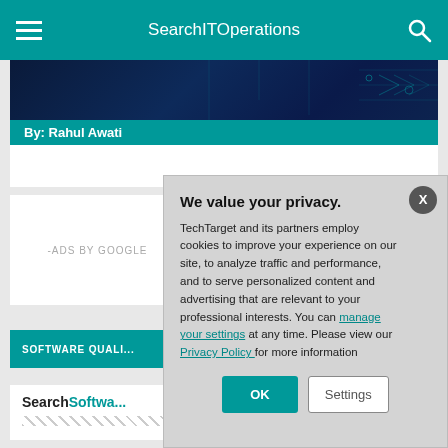SearchITOperations
[Figure (screenshot): Dark blue circuit board hero image with teal author bar showing 'By: Rahul Awati']
-ADS BY GOOGLE
SOFTWARE QUALI...
SearchSoftwa...
We value your privacy. TechTarget and its partners employ cookies to improve your experience on our site, to analyze traffic and performance, and to serve personalized content and advertising that are relevant to your professional interests. You can manage your settings at any time. Please view our Privacy Policy for more information